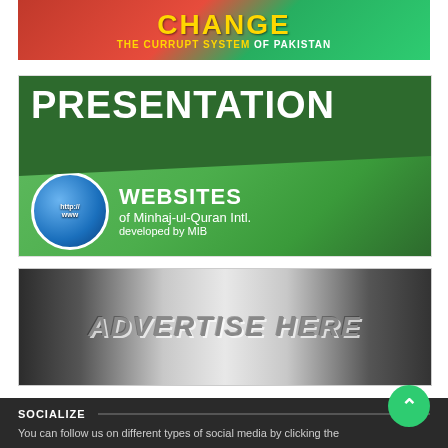[Figure (infographic): Red and green banner with text 'CHANGE THE CURRUPT SYSTEM of Pakistan']
[Figure (infographic): Green banner with globe graphic showing 'PRESENTATION WEBSITES of Minhaj-ul-Quran Intl. developed by MIB']
[Figure (infographic): Silver/gray metallic banner with italic text 'ADVERTISE HERE']
SOCIALIZE
You can follow us on different types of social media by clicking the